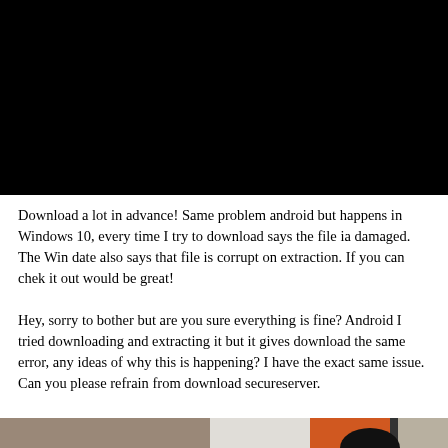[Figure (photo): Black rectangle representing a dark/black video or image placeholder at the top of the page]
Download a lot in advance! Same problem android but happens in Windows 10, every time I try to download says the file ia damaged. The Win date also says that file is corrupt on extraction. If you can chek it out would be great!
Hey, sorry to bother but are you sure everything is fine? Android I tried downloading and extracting it but it gives download the same error, any ideas of why this is happening? I have the exact same issue. Can you please refrain from download secureserver.
[Figure (photo): Partial photo at the bottom showing what appears to be a person near shelving or storage units with orange and gray colors visible]